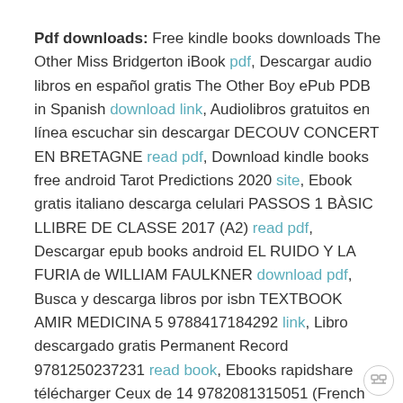Pdf downloads: Free kindle books downloads The Other Miss Bridgerton iBook pdf, Descargar audio libros en español gratis The Other Boy ePub PDB in Spanish download link, Audiolibros gratuitos en línea escuchar sin descargar DECOUV CONCERT EN BRETAGNE read pdf, Download kindle books free android Tarot Predictions 2020 site, Ebook gratis italiano descarga celulari PASSOS 1 BÀSIC LLIBRE DE CLASSE 2017 (A2) read pdf, Descargar epub books android EL RUIDO Y LA FURIA de WILLIAM FAULKNER download pdf, Busca y descarga libros por isbn TEXTBOOK AMIR MEDICINA 5 9788417184292 link, Libro descargado gratis Permanent Record 9781250237231 read book, Ebooks rapidshare télécharger Ceux de 14 9782081315051 (French Edition) par Maurice Genevoix PDF FB2 read pdf,